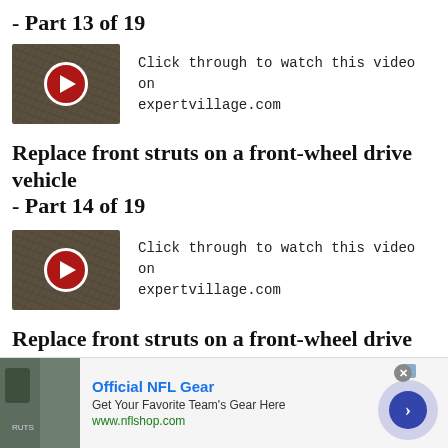- Part 13 of 19
[Figure (screenshot): Video thumbnail with red play button and text: Click through to watch this video on expertvillage.com]
Replace front struts on a front-wheel drive vehicle - Part 14 of 19
[Figure (screenshot): Video thumbnail with red play button and text: Click through to watch this video on expertvillage.com]
Replace front struts on a front-wheel drive vehicle - Part 15 of 19
[Figure (screenshot): Advertisement banner: Official NFL Gear - Get Your Favorite Team's Gear Here - www.nflshop.com]